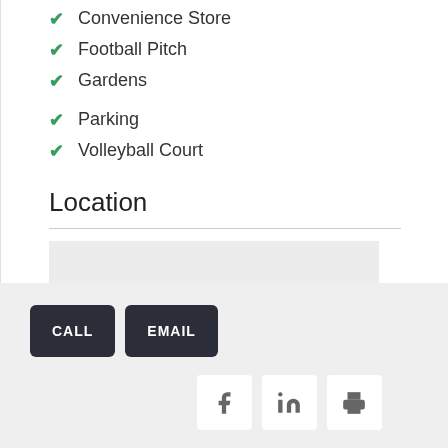Convenience Store
Football Pitch
Gardens
Parking
Volleyball Court
Location
[Figure (map): Map placeholder showing location]
CALL   EMAIL
[Figure (other): Social sharing icons: Facebook, LinkedIn, Print]